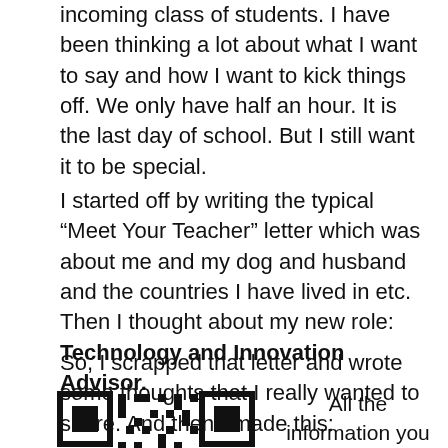incoming class of students. I have been thinking a lot about what I want to say and how I want to kick things off. We only have half an hour.  It is the last day of school.  But I still want it to be special.
I started off by writing the typical “Meet Your Teacher” letter which was about me and my dog and husband and the countries I have lived in etc. Then I thought about my new role: Technology and Innovation Advisor.
So, I scrapped that letter and wrote some thoughts that I really wanted to share. And then I made this:
[Figure (other): QR code containing information about the teacher]
All the information you need is contained within this code.  We